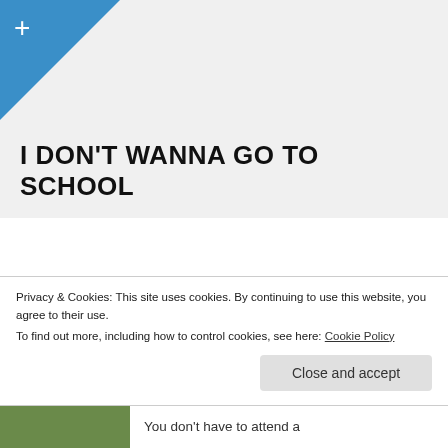+
I DON’T WANNA GO TO SCHOOL
Peter Pan is a great story. In the Broadway Musical version there’s a song in which the main character insists, “I won’t grow up. I don’t wanna go to school; just to learn to be a parrot, and recite a silly rule.” Aside from flight, fighting pirates, visiting mermaids and
Privacy & Cookies: This site uses cookies. By continuing to use this website, you agree to their use.
To find out more, including how to control cookies, see here: Cookie Policy
You don’t have to attend a